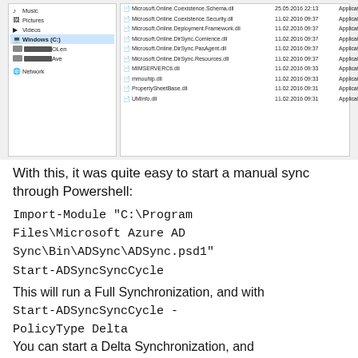[Figure (screenshot): Windows File Explorer showing a folder with Microsoft Azure AD Sync DLL files. Left panel shows navigation tree with Music, Pictures, Videos, Windows (C:), network items. Right panel lists files including Microsoft.Online.Coexistence.Schema.dll, Microsoft.Online.Coexistence.Security.dll, Microsoft.Online.Deployment.Framework.dll, Microsoft.Online.DirSync.Comience.dll, Microsoft.Online.DirSync.PasAgent.dll, Microsoft.Online.DirSync.Resources.dll, MIMSERVERCtl.dll, mmouhip.dll, PropertySheetBase.dll, UMInfo.dll with dates around 11.02.2016 and sizes.]
With this, it was quite easy to start a manual sync through Powershell:
This will run a Full Synchronization, and with Start-ADSyncSyncCycle - PolicyType Delta
You can start a Delta Synchronization, and